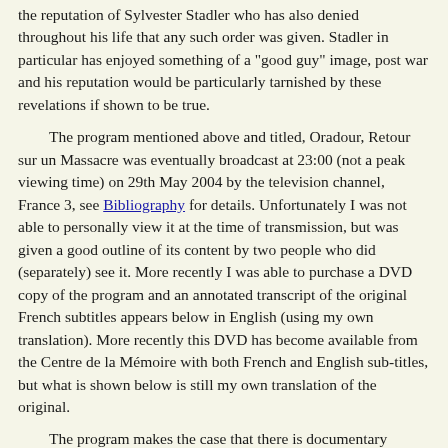the reputation of Sylvester Stadler who has also denied throughout his life that any such order was given. Stadler in particular has enjoyed something of a "good guy" image, post war and his reputation would be particularly tarnished by these revelations if shown to be true.
The program mentioned above and titled, Oradour, Retour sur un Massacre was eventually broadcast at 23:00 (not a peak viewing time) on 29th May 2004 by the television channel, France 3, see Bibliography for details. Unfortunately I was not able to personally view it at the time of transmission, but was given a good outline of its content by two people who did (separately) see it. More recently I was able to purchase a DVD copy of the program and an annotated transcript of the original French subtitles appears below in English (using my own translation). More recently this DVD has become available from the Centre de la Mémoire with both French and English sub-titles, but what is shown below is still my own translation of the original.
The program makes the case that there is documentary evidence of meetings at a senior level within Das Reich to discuss the deteriorating security situation in France in the days following the D-Day landings on the 6th of June. This is undoubtedly true and can easily be imagined. There had also been a whole series of directives from the German High Command in the West at various